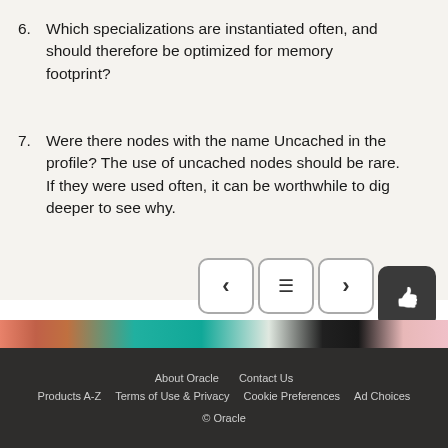6. Which specializations are instantiated often, and should therefore be optimized for memory footprint?
7. Were there nodes with the name Uncached in the profile? The use of uncached nodes should be rare. If they were used often, it can be worthwhile to dig deeper to see why.
[Figure (screenshot): Navigation buttons: back arrow, menu/table-of-contents, forward arrow, and a thumbs-up button]
[Figure (illustration): Decorative colorful banner strip]
About Oracle  Contact Us  Products A-Z  Terms of Use & Privacy  Cookie Preferences  Ad Choices  © Oracle